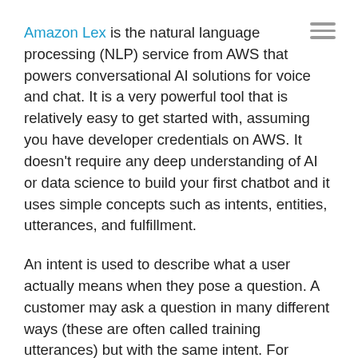Amazon Lex is the natural language processing (NLP) service from AWS that powers conversational AI solutions for voice and chat. It is a very powerful tool that is relatively easy to get started with, assuming you have developer credentials on AWS. It doesn't require any deep understanding of AI or data science to build your first chatbot and it uses simple concepts such as intents, entities, utterances, and fulfillment.
An intent is used to describe what a user actually means when they pose a question. A customer may ask a question in many different ways (these are often called training utterances) but with the same intent. For example, a customer may ask “how much is in my account?”, or “what funds do I have?”,  or “will I have enough for my loan payment?” with the intent of checking their account balance. So the intent, in this case, is “account balance” and there is a myriad of